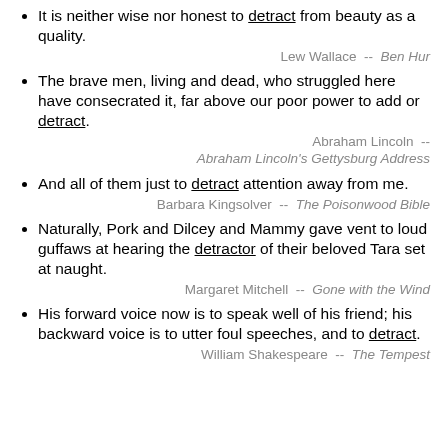It is neither wise nor honest to detract from beauty as a quality.
Lew Wallace  --  Ben Hur
The brave men, living and dead, who struggled here have consecrated it, far above our poor power to add or detract.
Abraham Lincoln  --  Abraham Lincoln's Gettysburg Address
And all of them just to detract attention away from me.
Barbara Kingsolver  --  The Poisonwood Bible
Naturally, Pork and Dilcey and Mammy gave vent to loud guffaws at hearing the detractor of their beloved Tara set at naught.
Margaret Mitchell  --  Gone with the Wind
His forward voice now is to speak well of his friend; his backward voice is to utter foul speeches, and to detract.
William Shakespeare  --  The Tempest